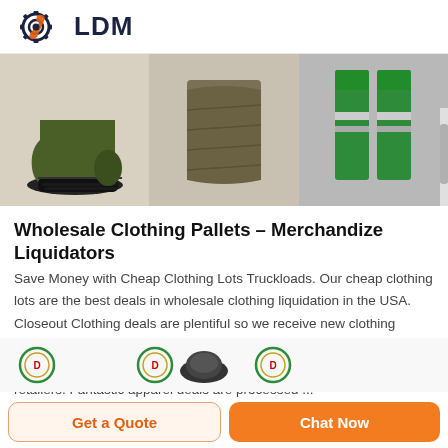[Figure (logo): LDM logo: gear icon with wrench and orange accent, bold dark navy LDM text]
[Figure (photo): Three product images side by side: olive/green work boot on left, folded dark olive/military fabric in center, green high-visibility safety vest on right]
Wholesale Clothing Pallets - Merchandize Liquidators
Save Money with Cheap Clothing Lots Truckloads. Our cheap clothing lots are the best deals in wholesale clothing liquidation in the USA. Closeout Clothing deals are plentiful so we receive new clothing truckloads daily and it's always increasing thanks to clothing liquidations sales from major brands, manufacturers, and USA retailers. Fantastic apparel deals are processed ...
[Figure (other): Row of circular badge/seal icons and a partially visible product thumbnail]
Get a Quote
Chat Now